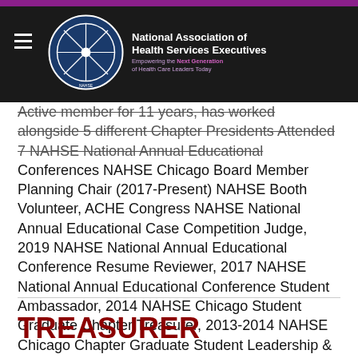National Association of Health Services Executives — Empowering the Next Generation of Health Care Leaders Today
Active member for 11 years, has worked alongside 5 different Chapter Presidents Attended 7 NAHSE National Annual Educational Conferences NAHSE Chicago Board Member Planning Chair (2017-Present) NAHSE Booth Volunteer, ACHE Congress NAHSE National Annual Educational Case Competition Judge, 2019 NAHSE National Annual Educational Conference Resume Reviewer, 2017 NAHSE National Annual Educational Conference Student Ambassador, 2014 NAHSE Chicago Student Graduate Chapter Treasurer, 2013-2014 NAHSE Chicago Chapter Graduate Student Leadership & Scholarship Award, 2013.
TREASURER